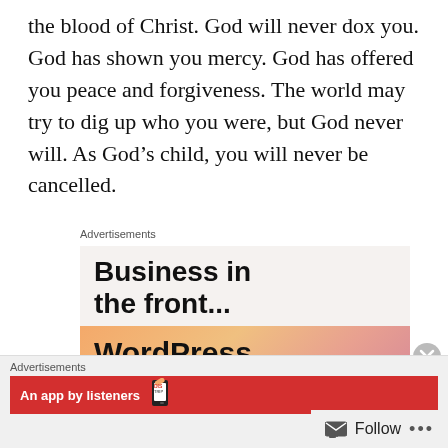the blood of Christ. God will never dox you. God has shown you mercy. God has offered you peace and forgiveness. The world may try to dig up who you were, but God never will. As God’s child, you will never be cancelled.
Advertisements
[Figure (screenshot): Advertisement banner showing 'Business in the front...' in bold black text on a light beige background, with a WordPress advertisement below on a gradient orange-pink background showing 'WordPress in the back']
Advertisements
[Figure (screenshot): Red advertisement banner showing 'An app by listeners' with a phone graphic and discount badge]